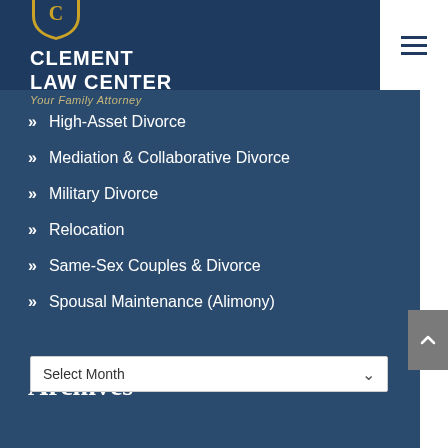[Figure (logo): Clement Law Center logo with shield icon and tagline 'Your Family Attorney']
» High-Asset Divorce
» Mediation & Collaborative Divorce
» Military Divorce
» Relocation
» Same-Sex Couples & Divorce
» Spousal Maintenance (Alimony)
Archives
Select Month